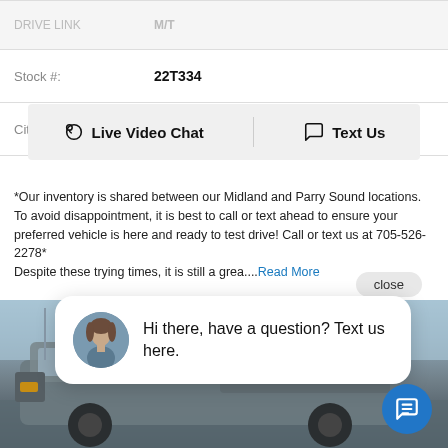| Stock #: | 22T334 |
| City: | Midland |
Live Video Chat   Text Us
*Our inventory is shared between our Midland and Parry Sound locations. To avoid disappointment, it is best to call or text ahead to ensure your preferred vehicle is here and ready to test drive! Call or text us at 705-526-2278* Despite these trying times, it is still a grea....Read More
[Figure (screenshot): Chat widget popup with avatar of a woman and text: Hi there, have a question? Text us here. With a close button and a blue chat icon button.]
[Figure (photo): Photo of a grey Ford F-150 pickup truck parked in a lot under a blue sky.]